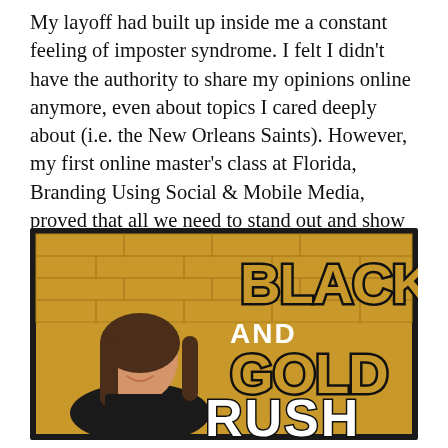My layoff had built up inside me a constant feeling of imposter syndrome. I felt I didn't have the authority to share my opinions online anymore, even about topics I cared deeply about (i.e. the New Orleans Saints). However, my first online master's class at Florida, Branding Using Social & Mobile Media, proved that all we need to stand out and show influence is our voice, experiences, a channel and an audience.
[Figure (photo): Black and Gold Rush podcast/brand logo with a woman smiling in the foreground, set against a gold brick wall background. Large bold text reads BLACK AND GOLD RUSH.]